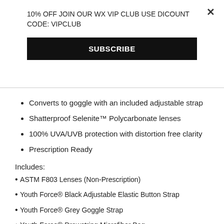10% OFF JOIN OUR WX VIP CLUB USE DICOUNT CODE: VIPCLUB
SUBSCRIBE
Converts to goggle with an included adjustable strap
Shatterproof Selenite™ Polycarbonate lenses
100% UVA/UVB protection with distortion free clarity
Prescription Ready
Includes:
ASTM F803 Lenses (Non-Prescription)
Youth Force® Black Adjustable Elastic Button Strap
Youth Force® Grey Goggle Strap
Youth Force® Drawstring Microfiber Bag